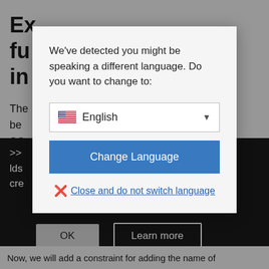[Figure (screenshot): Screenshot of a web page showing a language detection modal dialog overlay. Behind the modal, partially visible content shows bold heading text starting with 'Ex...', body text, dark code block area, and bottom navigation buttons labeled 'OK' and 'Learn more'. At the bottom a strip reads 'Now, we will add a constraint for adding the name of'.]
We've detected you might be speaking a different language. Do you want to change to:
English (dropdown selector with US flag)
Change Language
Close and do not switch language
Now, we will add a constraint for adding the name of